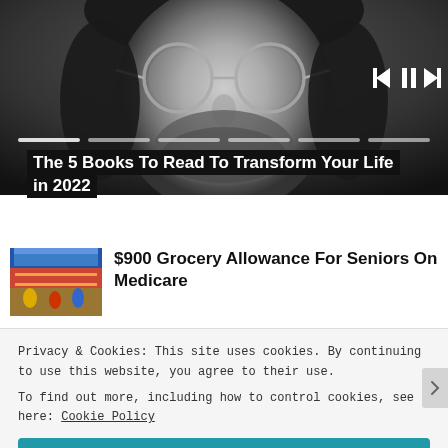[Figure (photo): Black and white close-up photo of a man with round glasses and a beard, with media player controls (skip back, pause, skip forward) and a progress bar overlay]
The 5 Books To Read To Transform Your Life in 2022
[Figure (photo): Small thumbnail image of a crowded grocery store with colorful signage]
$900 Grocery Allowance For Seniors On Medicare
Privacy & Cookies: This site uses cookies. By continuing to use this website, you agree to their use.
To find out more, including how to control cookies, see here: Cookie Policy
Close and accept